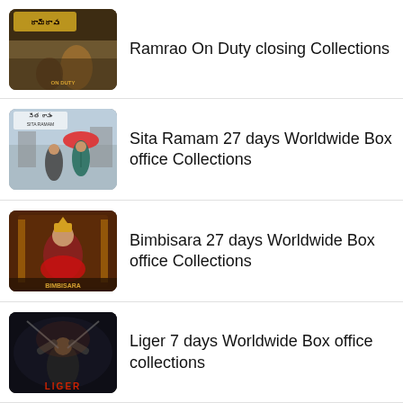Ramrao On Duty closing Collections
Sita Ramam 27 days Worldwide Box office Collections
Bimbisara 27 days Worldwide Box office Collections
Liger 7 days Worldwide Box office collections